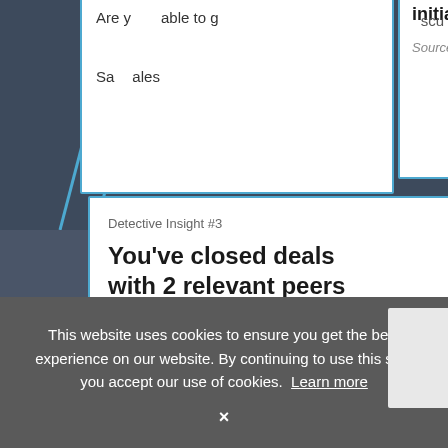Are you able to g...
Sa...ales
initiative: Millennials
Source: Forbes.com
Detective Insight #3
You've closed deals with 2 relevant peers
Source: Salesforce
This website uses cookies to ensure you get the best experience on our website. By continuing to use this site, you accept our use of cookies. Learn more
×